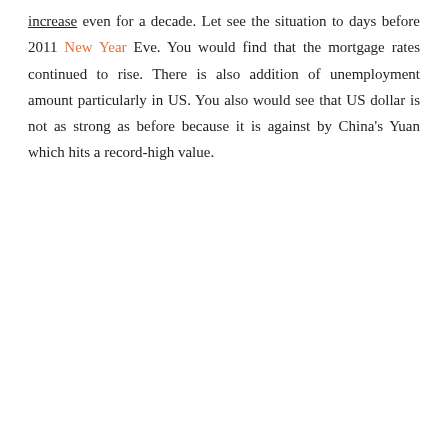increase even for a decade. Let see the situation to days before 2011 New Year Eve. You would find that the mortgage rates continued to rise. There is also addition of unemployment amount particularly in US. You also would see that US dollar is not as strong as before because it is against by China's Yuan which hits a record-high value.